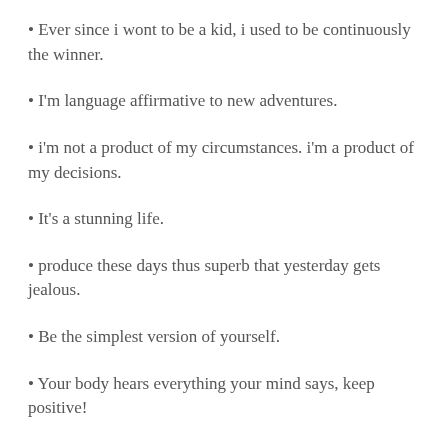Ever since i wont to be a kid, i used to be continuously the winner.
I'm language affirmative to new adventures.
i'm not a product of my circumstances. i'm a product of my decisions.
It's a stunning life.
produce these days thus superb that yesterday gets jealous.
Be the simplest version of yourself.
Your body hears everything your mind says, keep positive!